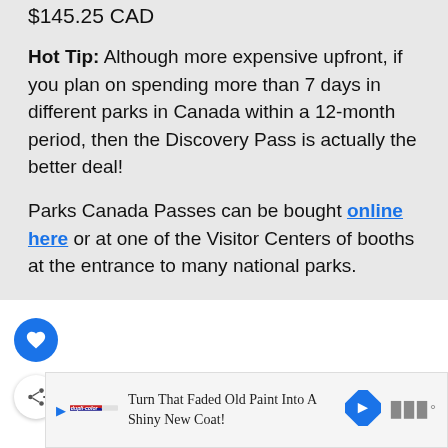$145.25 CAD
Hot Tip: Although more expensive upfront, if you plan on spending more than 7 days in different parks in Canada within a 12-month period, then the Discovery Pass is actually the better deal!
Parks Canada Passes can be bought online here or at one of the Visitor Centers of booths at the entrance to many national parks.
[Figure (other): Heart favorite button (teal circle with white heart icon) and share button (white circle with share icon)]
[Figure (other): Advertisement banner: Turn That Faded Old Paint Into A Shiny New Coat! with Dupli-Color logo, navigation arrow icon, and Waze logo]